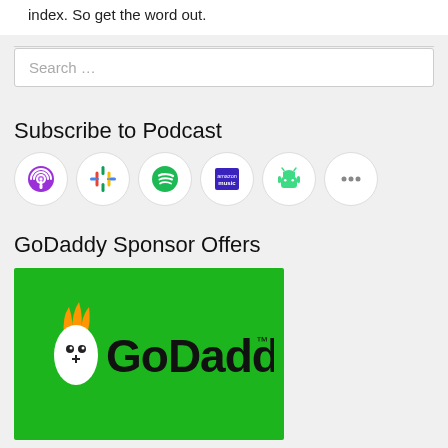index. So get the word out.
[Figure (screenshot): Search box with placeholder text 'Search ...']
Subscribe to Podcast
[Figure (infographic): Row of podcast platform icons: Apple Podcasts (purple), Google Podcasts (colorful), Spotify (green), Amazon Music (purple), Android (green), More (three dots)]
GoDaddy Sponsor Offers
[Figure (logo): GoDaddy logo on green background with mascot character]